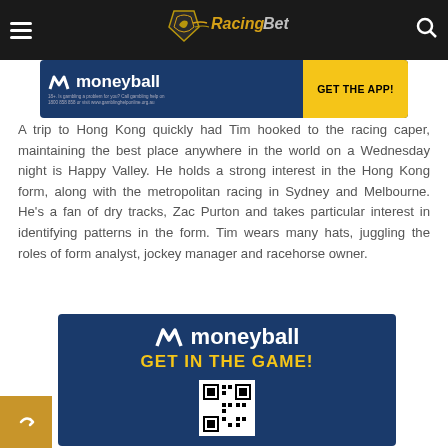RacingBet
[Figure (logo): Moneyball advertisement banner - GET THE APP! with blue background and yellow button]
A trip to Hong Kong quickly had Tim hooked to the racing caper, maintaining the best place anywhere in the world on a Wednesday night is Happy Valley. He holds a strong interest in the Hong Kong form, along with the metropolitan racing in Sydney and Melbourne. He’s a fan of dry tracks, Zac Purton and takes particular interest in identifying patterns in the form. Tim wears many hats, juggling the roles of form analyst, jockey manager and racehorse owner.
[Figure (logo): Moneyball advertisement - GET IN THE GAME! with blue background, logo, tagline and QR code]